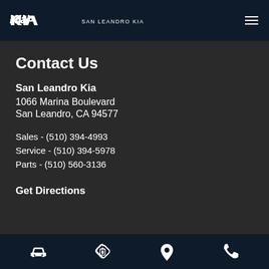KIA  SAN LEANDRO KIA
Contact Us
San Leandro Kia
1066 Marina Boulevard
San Leandro, CA 94577
Sales - (510) 394-4993
Service - (510) 394-5978
Parts - (510) 560-3136
Get Directions
[Figure (infographic): Bottom navigation bar with car icon, price tag icon, location pin icon, and phone icon]
[Figure (infographic): Yellow bottom bar with phone call button, search bar saying 'Just ask', and mobile icon button]